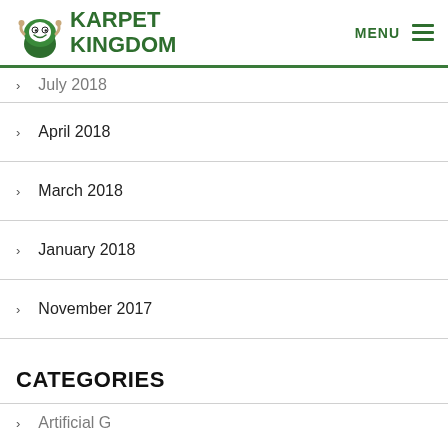Karpet Kingdom — MENU
July 2018
April 2018
March 2018
January 2018
November 2017
CATEGORIES
Artificial G…